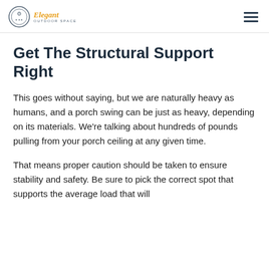Elegant Outdoor Space
Get The Structural Support Right
This goes without saying, but we are naturally heavy as humans, and a porch swing can be just as heavy, depending on its materials. We're talking about hundreds of pounds pulling from your porch ceiling at any given time.
That means proper caution should be taken to ensure stability and safety. Be sure to pick the correct spot that supports the average load that will